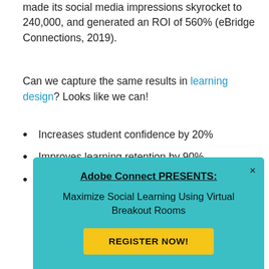made its social media impressions skyrocket to 240,000, and generated an ROI of 560% (eBridge Connections, 2019).
Can we capture the same results in learning design? Looks like we can!
Increases student confidence by 20%
Improves learning retention by 90%
Improves the conceptual knowledge of students by 11%
[Figure (infographic): Teal popup overlay with bold underlined heading 'Adobe Connect PRESENTS:', subtitle 'Maximize Social Learning Using Virtual Breakout Rooms', yellow 'REGISTER NOW!' button, and an X close button.]